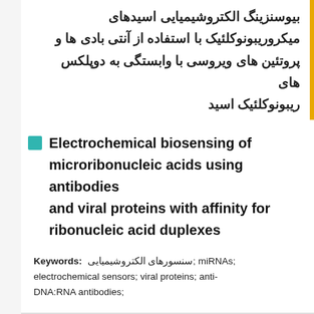بیوسنزینگ الکتروشیمیایی اسیدهای میکروریبونوکلئیک با استفاده از آنتی بادی ها و پروتئین های ویروسی با وابستگی به دوپلکس های ریبونوکلئیک اسید
Electrochemical biosensing of microribonucleic acids using antibodies and viral proteins with affinity for ribonucleic acid duplexes
Keywords: سنسورهای الکتروشیمیایی; miRNAs; electrochemical sensors; viral proteins; anti-DNA:RNA antibodies;